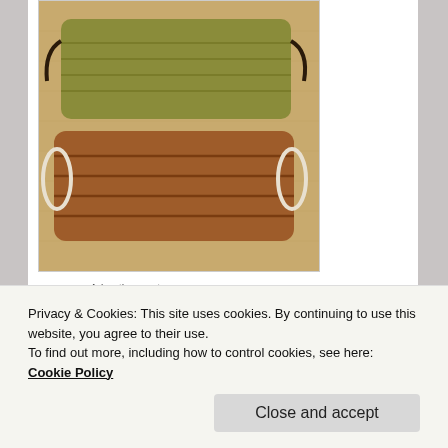[Figure (photo): Two fabric face masks on a beige/linen background. Top mask is olive/yellow-green with dark elastic straps. Bottom mask is brown/rust colored with white elastic straps. Both show pleated construction.]
Advertisements
[Figure (screenshot): WordPress.com advertisement banner: 'Simplified pricing for everything you need' with WordPress.com logo on blue-to-purple gradient background.]
This time I used:
Privacy & Cookies: This site uses cookies. By continuing to use this website, you agree to their use.
To find out more, including how to control cookies, see here: Cookie Policy
Close and accept